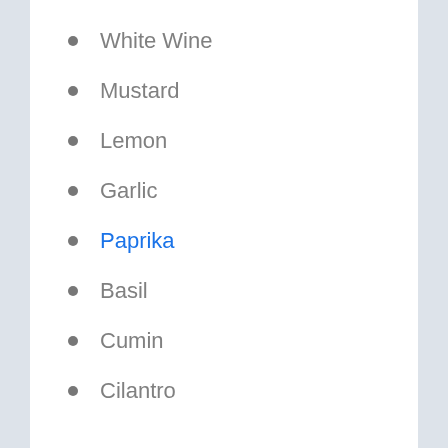White Wine
Mustard
Lemon
Garlic
Paprika
Basil
Cumin
Cilantro